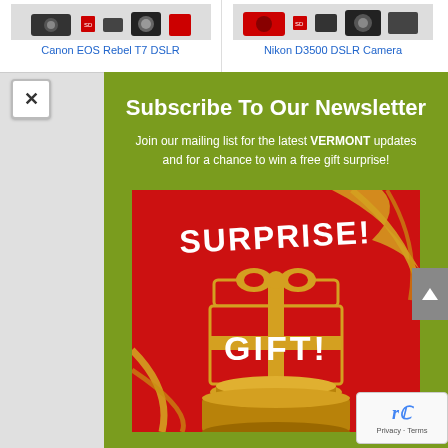[Figure (screenshot): Top bar showing two product listings: Canon EOS Rebel T7 DSLR on the left and Nikon D3500 DSLR Camera on the right, with product thumbnail images above text labels]
Canon EOS Rebel T7 DSLR
Nikon D3500 DSLR Camera
Subscribe To Our Newsletter
Join our mailing list for the latest VERMONT updates and for a chance to win a free gift surprise!
[Figure (illustration): Red and gold gift box on a gold pedestal with golden ribbons and the text SURPRISE! and GIFT! in white bold stylized font on a red background]